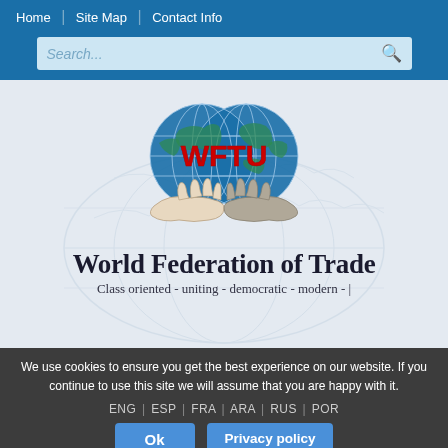Home | Site Map | Contact Info
[Figure (screenshot): Search bar with placeholder text 'Search...' on blue background]
[Figure (logo): WFTU logo: two hands holding a heart-shaped globe with 'WFTU' text in red]
World Federation of Trade
Class oriented - uniting - democratic - modern -
We use cookies to ensure you get the best experience on our website. If you continue to use this site we will assume that you are happy with it.
ENG | ESP | FRA | ARA | RUS | POR
Ok   Privacy policy
— Main Menu —